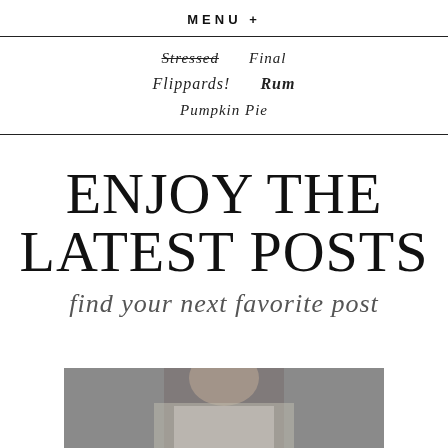MENU +
Stressed Final
Flippards! Rum
Pumpkin Pie
ENJOY THE LATEST POSTS
find your next favorite post
[Figure (photo): Partial photo of a person, cropped at bottom of page]